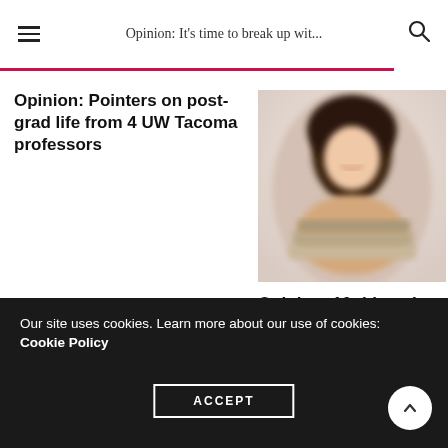Opinion: It's time to break up wit...
Opinion: Pointers on post-grad life from 4 UW Tacoma professors
[Figure (photo): Photo of a smiling student with curly hair resting on a stack of books]
Opinion: 10 things I wish I knew my freshman year
Huskies in the Hallway: 1/14/19
Our site uses cookies. Learn more about our use of cookies: Cookie Policy
ACCEPT